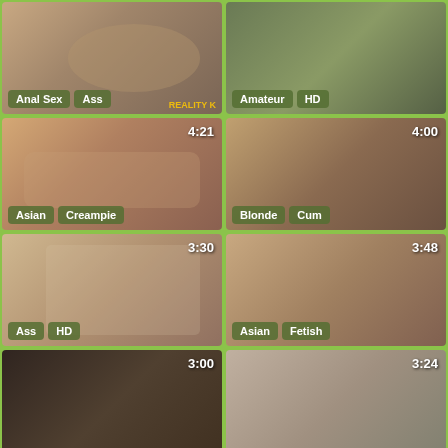[Figure (screenshot): Video thumbnail grid cell 1 - tags: Anal Sex, Ass]
[Figure (screenshot): Video thumbnail grid cell 2 - tags: Amateur, HD]
[Figure (screenshot): Video thumbnail grid cell 3 - duration: 4:21, tags: Asian, Creampie]
[Figure (screenshot): Video thumbnail grid cell 4 - duration: 4:00, tags: Blonde, Cum]
[Figure (screenshot): Video thumbnail grid cell 5 - duration: 3:30, tags: Ass, HD]
[Figure (screenshot): Video thumbnail grid cell 6 - duration: 3:48, tags: Asian, Fetish]
[Figure (screenshot): Video thumbnail grid cell 7 - duration: 3:00]
[Figure (screenshot): Video thumbnail grid cell 8 - duration: 3:24]